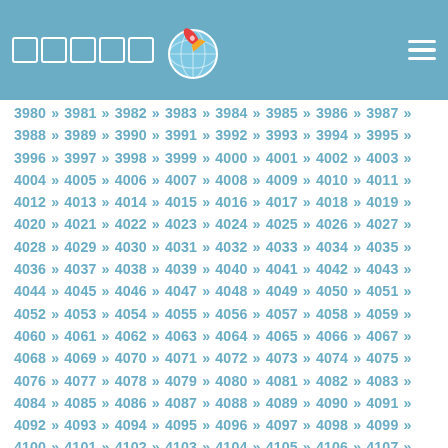Navigation page with logo and menu icon
3980 » 3981 » 3982 » 3983 » 3984 » 3985 » 3986 » 3987 » 3988 » 3989 » 3990 » 3991 » 3992 » 3993 » 3994 » 3995 » 3996 » 3997 » 3998 » 3999 » 4000 » 4001 » 4002 » 4003 » 4004 » 4005 » 4006 » 4007 » 4008 » 4009 » 4010 » 4011 » 4012 » 4013 » 4014 » 4015 » 4016 » 4017 » 4018 » 4019 » 4020 » 4021 » 4022 » 4023 » 4024 » 4025 » 4026 » 4027 » 4028 » 4029 » 4030 » 4031 » 4032 » 4033 » 4034 » 4035 » 4036 » 4037 » 4038 » 4039 » 4040 » 4041 » 4042 » 4043 » 4044 » 4045 » 4046 » 4047 » 4048 » 4049 » 4050 » 4051 » 4052 » 4053 » 4054 » 4055 » 4056 » 4057 » 4058 » 4059 » 4060 » 4061 » 4062 » 4063 » 4064 » 4065 » 4066 » 4067 » 4068 » 4069 » 4070 » 4071 » 4072 » 4073 » 4074 » 4075 » 4076 » 4077 » 4078 » 4079 » 4080 » 4081 » 4082 » 4083 » 4084 » 4085 » 4086 » 4087 » 4088 » 4089 » 4090 » 4091 » 4092 » 4093 » 4094 » 4095 » 4096 » 4097 » 4098 » 4099 » 4100 » 4101 » 4102 » 4103 » 4104 » 4105 » 4106 » 4107 » 4108 » 4109 » 4110 » 4111 » 4112 » 4113 » 4114 » 4115 » 4116 » 4117 » 4118 » 4119 » 4120 » 4121 » 4122 » 4123 » 4124 » 4125 » 4126 » 4127 » 4128 » 4129 » 4130 » 4131 » 4132 » 4133 » 4134 » 4135 » 4136 » 4137 » 4138 » 4139 » 4140 » 4141 » 4142 » 4143 » 4144 » 4145 » 4146 » 4147 » 4148 » 4149 » 4150 » 4151 » 4152 » 4153 » 4154 » 4155 » 4156 » 4157 » 4158 » 4159 » 4160 » 4161 » 4162 » 4163 » 4164 » 4165 » 4166 » 4167 » 4168